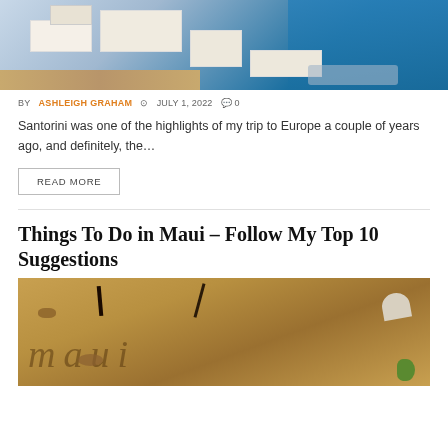[Figure (photo): Aerial view of Santorini white buildings and blue sea]
BY ASHLEIGH GRAHAM  © JULY 1, 2022  💬 0
Santorini was one of the highlights of my trip to Europe a couple of years ago, and definitely, the...
READ MORE
Things To Do in Maui – Follow My Top 10 Suggestions
[Figure (photo): The word 'maui' written in sand with shells and natural objects, heart-shaped stone in top right, green plant in bottom right]